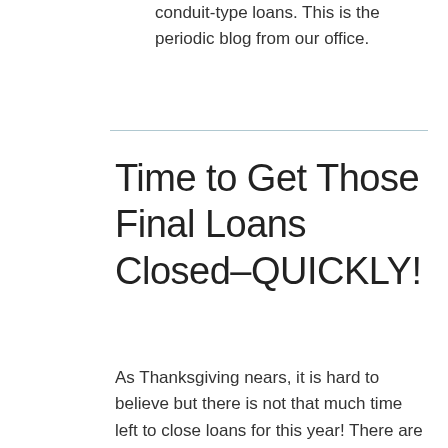conduit-type loans. This is the periodic blog from our office.
Time to Get Those Final Loans Closed–QUICKLY!
As Thanksgiving nears, it is hard to believe but there is not that much time left to close loans for this year! There are only a few weeks left in the year to close loans....Thanksgiving